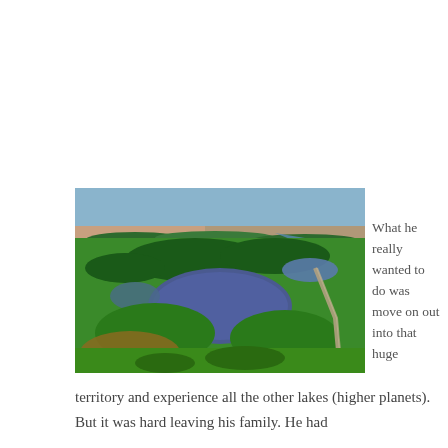[Figure (photo): Aerial photograph of a green landscape with lakes, wetlands, fields, and a road cutting through the terrain.]
What he really wanted to do was move on out into that huge territory and experience all the other lakes (higher planets). But it was hard leaving his family. He had